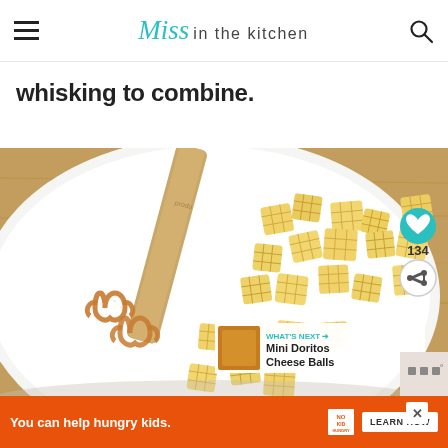Miss in the kitchen
whisking to combine.
[Figure (photo): A white bowl containing Chex mix cereal pieces and pretzels with a wooden spoon/spatula resting in the bowl, viewed from above on a wood surface. Social share overlay on the right with a teal heart button showing 134 and a share button. A 'What's Next' overlay shows 'Mini Doritos Cheese Balls'.]
You can help hungry kids.  NO KID HUNGRY  LEARN HOW